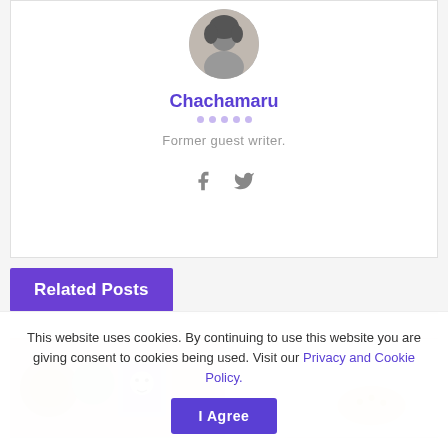[Figure (photo): Circular avatar photo of author Chachamaru, black and white portrait]
Chachamaru
Former guest writer.
[Figure (other): Social media icons: Facebook and Twitter]
Related Posts
[Figure (photo): Related post thumbnail image showing colorful illustrated items and food on white background]
This website uses cookies. By continuing to use this website you are giving consent to cookies being used. Visit our Privacy and Cookie Policy.